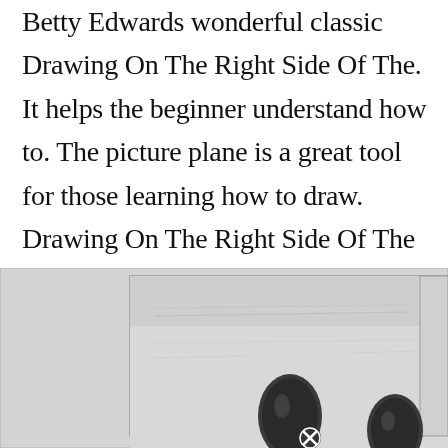Betty Edwards wonderful classic Drawing On The Right Side Of The. It helps the beginner understand how to. The picture plane is a great tool for those learning how to draw. Drawing On The Right Side Of The Brain Part 2 Contour Drawing Contour Drawing Drawings Drawing Exercises.
[Figure (illustration): A pencil or charcoal sketch showing what appears to be a hand or hands viewed through a picture plane/frame device, with a grid or frame structure visible. Two dark rounded shapes (fingers or thumbs) are visible in the lower portion of the sketch. A circular icon with an X appears at the bottom center.]